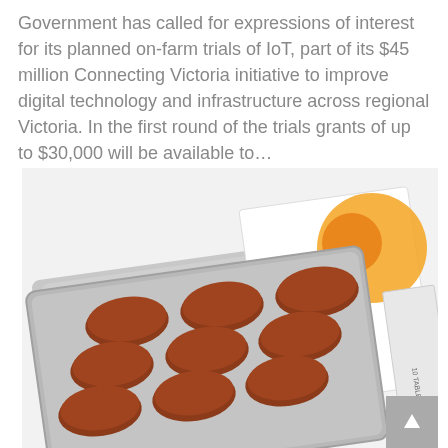Government has called for expressions of interest for its planned on-farm trials of IoT, part of its $45 million Connecting Victoria initiative to improve digital technology and infrastructure across regional Victoria. In the first round of the trials grants of up to $30,000 will be available to…
[Figure (photo): A blister pack of brown oval tablets/capsules partially pulled out of a white and orange medicine box, photographed on a white background.]